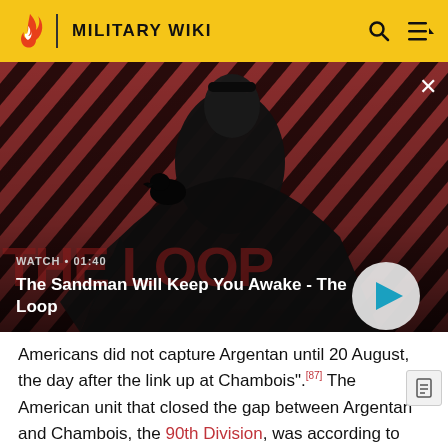MILITARY WIKI
[Figure (screenshot): Video thumbnail showing a person in dark cape with a raven on shoulder against a red diagonal striped background. Title reads 'The Sandman Will Keep You Awake - The Loop'. WATCH • 01:40 label visible with play button.]
Americans did not capture Argentan until 20 August, the day after the link up at Chambois".[87] The American unit that closed the gap between Argentan and Chambois, the 90th Division, was according to Hastings one of the least effective of any Allied army in Normandy. He speculates